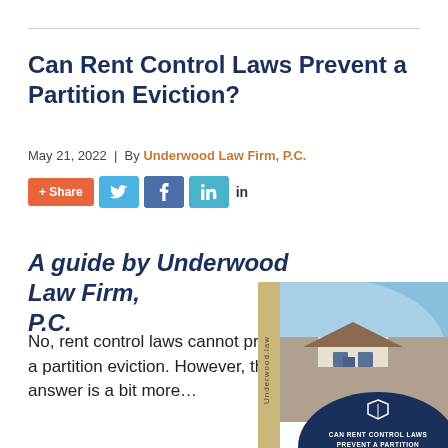Can Rent Control Laws Prevent a Partition Eviction?
May 21, 2022 | By Underwood Law Firm, P.C.
[Figure (infographic): Social sharing buttons: + Share (orange), Twitter (light blue), Facebook (dark blue), LinkedIn (teal)]
A guide by Underwood Law Firm, P.C.
[Figure (photo): Book cover showing a house photo with text 'Can Rent Control Laws Prevent a Partition' and Underwood Law Firm logo, with a tan spine reading 'Underwood.law']
No, rent control laws cannot prevent a partition eviction. However, the answer is a bit more…